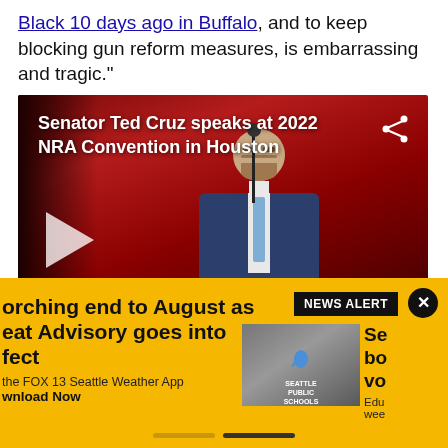Black 10 days ago in Buffalo, and to keep blocking gun reform measures, is embarrassing and tragic."
[Figure (screenshot): Video thumbnail showing Senator Ted Cruz speaking at a podium with a microphone at the 2022 NRA Convention in Houston. Red background. White play button visible on left. Share icon in top right corner. Title text overlay reads 'Senator Ted Cruz speaks at 2022 NRA Convention in Houston'.]
[Figure (screenshot): News alert banner overlay with yellow background. Left side shows partial headline 'orching end to August as eat Advisory goes into fect' with subtext about FOX 13 Seattle Weather App download. Center shows thumbnail of Seattle Public Schools sign. Right side shows partial headline 'Se bo vo' with text about Education and week. Black NEWS ALERT badge at top right with X close button.]